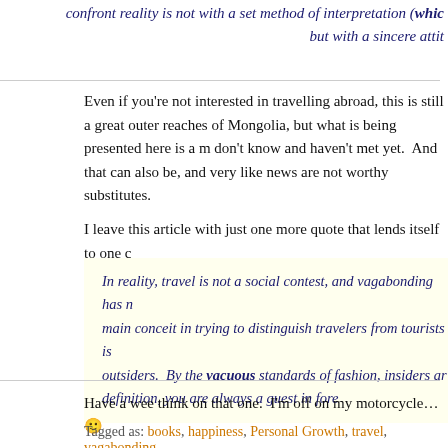confront reality is not with a set method of interpretation (which … but with a sincere attit…
Even if you're not interested in travelling abroad, this is still a great … outer reaches of Mongolia, but what is being presented here is a m… don't know and haven't met yet.  And that can also be, and very like… news are not worthy substitutes.
I leave this article with just one more quote that lends itself to one c…
In reality, travel is not a social contest, and vagabonding has n… main conceit in trying to distinguish travelers from tourists is… outsiders.  By the vacuous standards of fashion, insiders ar… definition, you are always a guest in fore…
Have a wee think on that one.  I'm off on my motorcycle… 🙂
Tagged as: books, happiness, Personal Growth, travel, vagabonding